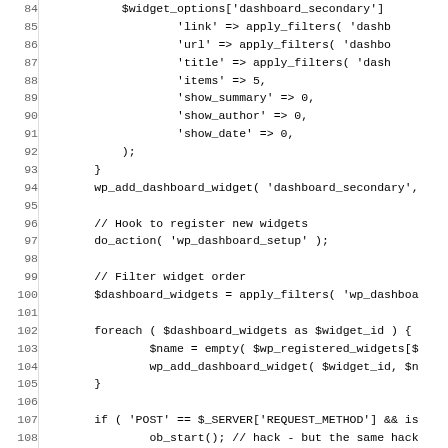[Figure (other): Source code snippet (PHP) showing WordPress dashboard widget registration, lines 84-115]